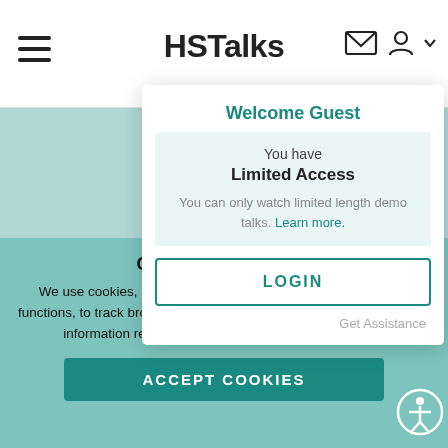HSTalks
Subscr...
Shar...
E...
View...
Watch a...
Accreditation...
Welcome Guest
You have Limited Access. You can only watch limited length demo talks. Learn more.
LOGIN
Get Assistance
Cookies and privacy
We use cookies, and similar tools, to improve the way this site functions, to track browsing patterns and enable marketing. For more information read our cookie policy and privacy policy.
ACCEPT COOKIES